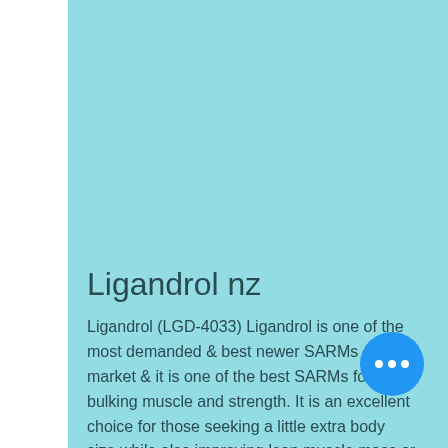Ligandrol nz
Ligandrol (LGD-4033) Ligandrol is one of the most demanded & best newer SARMs on the market & it is one of the best SARMs for bulking muscle and strength. It is an excellent choice for those seeking a little extra body size while also improving lean muscle mass or strength in general. It is one of the better options for those with an overall muscular build or those wanting to increase